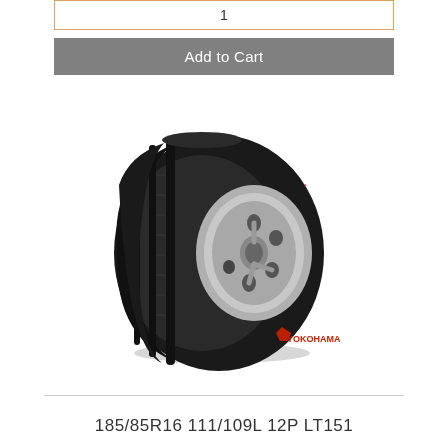1
Add to Cart
[Figure (photo): Yokohama tire product photo showing a truck/van tire with longitudinal tread grooves mounted on a silver wheel, viewed at an angle. Yokohama logo visible in lower right.]
185/85R16 111/109L 12P LT151